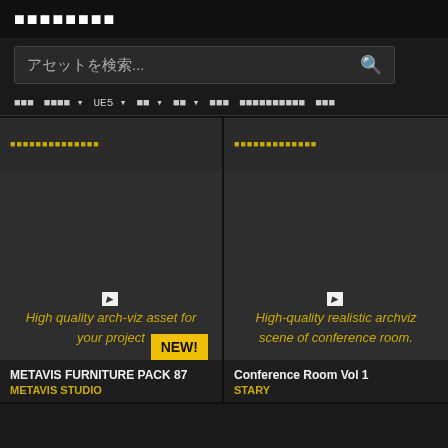xxxxxxxx
アセットを検索...
xxx  xxxx▼  UE5▼  xx▼  xx▼  xxx  xxxxxxxxxx  xxx
xxxxxxxxxxxxxx
xxxxxxxxxxxxx
[Figure (screenshot): Asset card showing arch-viz furniture with text: High quality arch-viz asset for your project. Badge: NEW!]
[Figure (screenshot): Asset card showing conference room with text: High-quality realistic archviz scene of conference room.]
METAVIS FURNITURE PACK 87
METAVIS STUDIO
Conference Room Vol 1
STARY